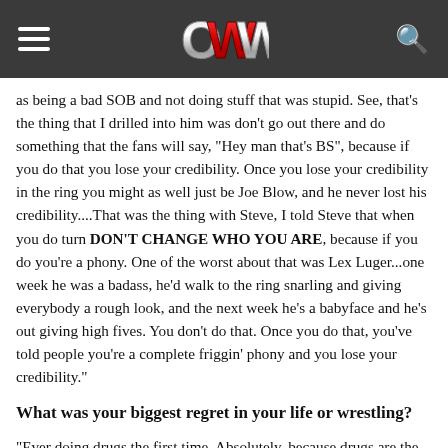OWW
as being a bad SOB and not doing stuff that was stupid. See, that's the thing that I drilled into him was don't go out there and do something that the fans will say, "Hey man that's BS", because if you do that you lose your credibility. Once you lose your credibility in the ring you might as well just be Joe Blow, and he never lost his credibility....That was the thing with Steve, I told Steve that when you do turn DON'T CHANGE WHO YOU ARE, because if you do you're a phony. One of the worst about that was Lex Luger...one week he was a badass, he'd walk to the ring snarling and giving everybody a rough look, and the next week he's a babyface and he's out giving high fives. You don't do that. Once you do that, you've told people you're a complete friggin' phony and you lose your credibility."
What was your biggest regret in your life or wrestling?
"Ever doing drugs the first time. Absolutely, because drugs are the biggest lie there ever was. You know, you start out doing